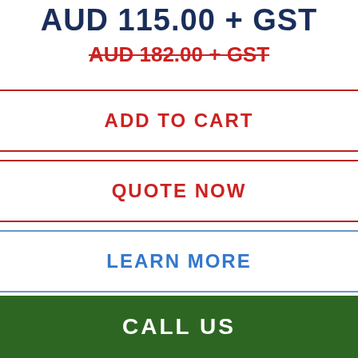AUD 115.00 + GST
AUD 182.00 + GST
ADD TO CART
QUOTE NOW
LEARN MORE
CALL US